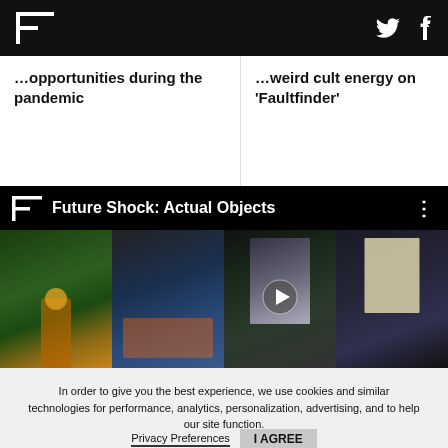Flashpoint Magazine header with logo, Twitter and Facebook icons
opportunities during the pandemic
weird cult energy on 'Faultfinder'
[Figure (screenshot): Video thumbnail mosaic showing 'Future Shock: Actual Objects' with play button overlay. Four thumbnail images of exhibition artworks in dark gallery setting.]
In order to give you the best experience, we use cookies and similar technologies for performance, analytics, personalization, advertising, and to help our site function.
Privacy Preferences    I AGREE